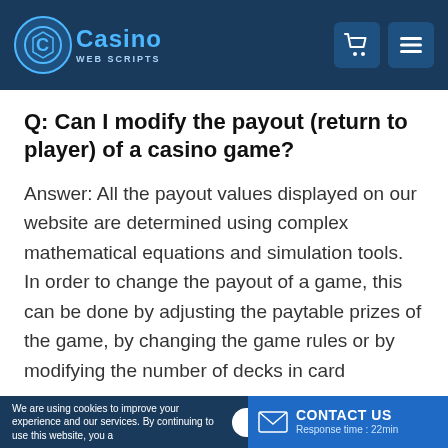Casino Web Scripts
Q: Can I modify the payout (return to player) of a casino game?
Answer: All the payout values displayed on our website are determined using complex mathematical equations and simulation tools. In order to change the payout of a game, this can be done by adjusting the paytable prizes of the game, by changing the game rules or by modifying the number of decks in card
We are using cookies to improve your experience and our services. By continuing to use this website, you agree to our use of cookies. | I agree! | CONTACT US Response time : 22min